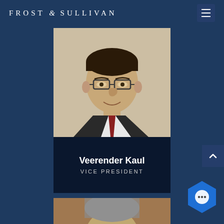FROST & SULLIVAN
[Figure (photo): Profile photo of Veerender Kaul, a man in a dark suit with glasses, smiling, with name overlay showing 'Veerender Kaul, VICE PRESIDENT']
Veerender Kaul
VICE PRESIDENT
[Figure (photo): Partial photo of another person, only top of head visible at bottom of page]